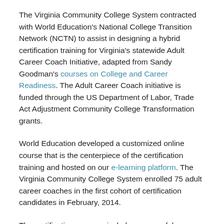The Virginia Community College System contracted with World Education's National College Transition Network (NCTN) to assist in designing a hybrid certification training for Virginia's statewide Adult Career Coach Initiative, adapted from Sandy Goodman's courses on College and Career Readiness. The Adult Career Coach initiative is funded through the US Department of Labor, Trade Act Adjustment Community College Transformation grants.
World Education developed a customized online course that is the centerpiece of the certification training and hosted on our e-learning platform. The Virginia Community College System enrolled 75 adult career coaches in the first cohort of certification candidates in February, 2014.
The certification program includes successful completion of the following activities: